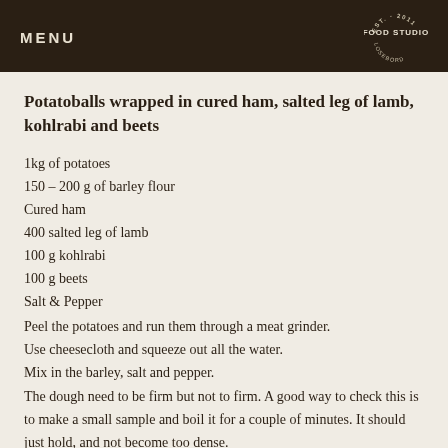MENU | FOOD STUDIO
Potatoballs wrapped in cured ham, salted leg of lamb, kohlrabi and beets
1kg of potatoes
150 – 200 g of barley flour
Cured ham
400 salted leg of lamb
100 g kohlrabi
100 g beets
Salt & Pepper
Peel the potatoes and run them through a meat grinder. Use cheesecloth and squeeze out all the water. Mix in the barley, salt and pepper. The dough need to be firm but not to firm. A good way to check this is to make a small sample and boil it for a couple of minutes. It should just hold, and not become too dense.